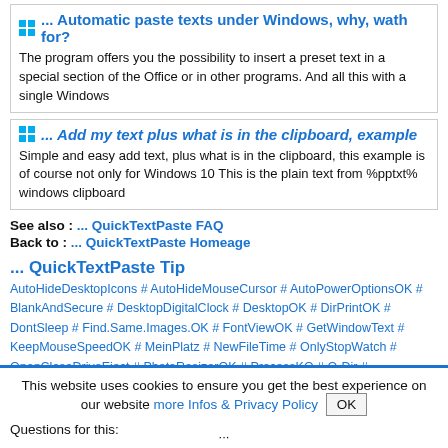... Automatic paste texts under Windows, why, wath for?
The program offers you the possibility to insert a preset text in a special section of the Office or in other programs. And all this with a single Windows
... Add my text plus what is in the clipboard, example
Simple and easy add text, plus what is in the clipboard, this example is of course not only for Windows 10 This is the plain text from %pptxt% windows clipboard
See also : ... QuickTextPaste FAQ
Back to : ... QuickTextPaste Homeage
... QuickTextPaste Tip
AutoHideDesktopIcons # AutoHideMouseCursor # AutoPowerOptionsOK # BlankAndSecure # DesktopDigitalClock # DesktopOK # DirPrintOK # DontSleep # Find.Same.Images.OK # FontViewOK # GetWindowText # KeepMouseSpeedOK # MeinPlatz # NewFileTime # OnlyStopWatch # OpenCloseDriveEject # PhotoResizerOK # ProcessKO # Q-Dir # QuickMemoryTestOK # QuickTextPaste # Run-Command # ShortDoorNote # TheAeroClock # WinBin2Iso # WinScan2PDF #
Questions for this:
This website uses cookies to ensure you get the best experience on our website more Infos & Privacy Policy OK